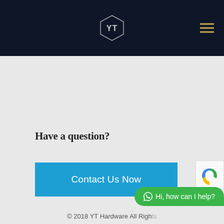YT Hardware navigation header
Have a question?
Contact Us Now
glass door closer
[Figure (screenshot): reCAPTCHA badge partially visible in bottom right corner]
Hi, how can I help?
© 2018 YT Hardware All Rights